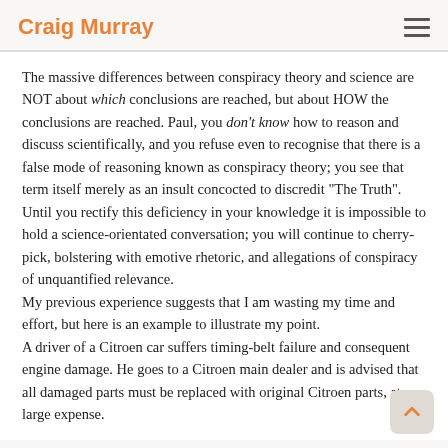Craig Murray
The massive differences between conspiracy theory and science are NOT about which conclusions are reached, but about HOW the conclusions are reached. Paul, you don't know how to reason and discuss scientifically, and you refuse even to recognise that there is a false mode of reasoning known as conspiracy theory; you see that term itself merely as an insult concocted to discredit "The Truth". Until you rectify this deficiency in your knowledge it is impossible to hold a science-orientated conversation; you will continue to cherry-pick, bolstering with emotive rhetoric, and allegations of conspiracy of unquantified relevance.
My previous experience suggests that I am wasting my time and effort, but here is an example to illustrate my point.
A driver of a Citroen car suffers timing-belt failure and consequent engine damage. He goes to a Citroen main dealer and is advised that all damaged parts must be replaced with original Citroen parts, at large expense.